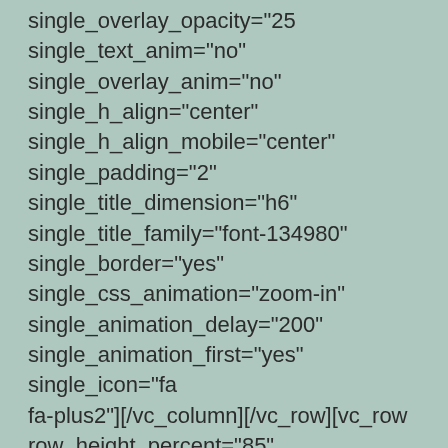single_overlay_opacity="25" single_text_anim="no" single_overlay_anim="no" single_h_align="center" single_h_align_mobile="center" single_padding="2" single_title_dimension="h6" single_title_family="font-134980" single_border="yes" single_css_animation="zoom-in" single_animation_delay="200" single_animation_first="yes" single_icon="fa fa-plus2"][/vc_column][/vc_row][vc_row row_height_percent="85"